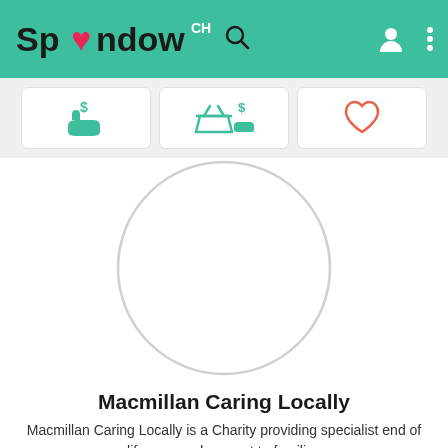Spendow CH
[Figure (screenshot): Three action tab buttons: donate (hand with dollar sign), basket donate, and favourite (heart)]
[Figure (photo): Large circular profile image placeholder with light gray border, empty/blank inside]
Macmillan Caring Locally
Macmillan Caring Locally is a Charity providing specialist end of life care and support to families...